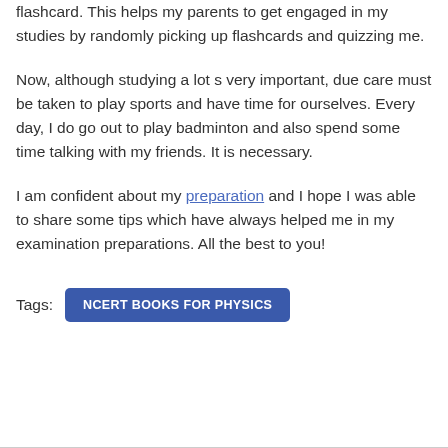flashcard. This helps my parents to get engaged in my studies by randomly picking up flashcards and quizzing me.
Now, although studying a lot s very important, due care must be taken to play sports and have time for ourselves. Every day, I do go out to play badminton and also spend some time talking with my friends. It is necessary.
I am confident about my preparation and I hope I was able to share some tips which have always helped me in my examination preparations. All the best to you!
Tags:
NCERT BOOKS FOR PHYSICS